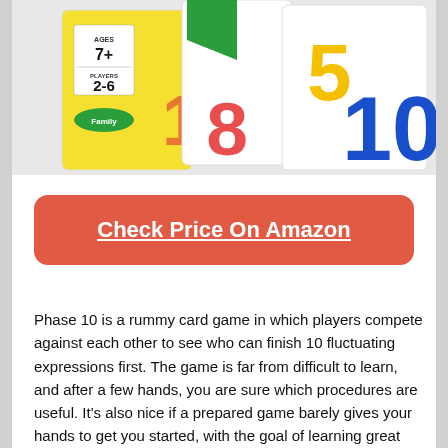[Figure (photo): Product image of Phase 10 rummy card game showing colorful number cards (1, 5, 8, 10) in red, yellow, green, blue with game box indicating Ages 7+, Players 2-6, Family category]
Check Price On Amazon
Phase 10 is a rummy card game in which players compete against each other to see who can finish 10 fluctuating expressions first. The game is far from difficult to learn, and after a few hands, you are sure which procedures are useful. It's also nice if a prepared game barely gives your hands to get you started, with the goal of learning great methods faster.